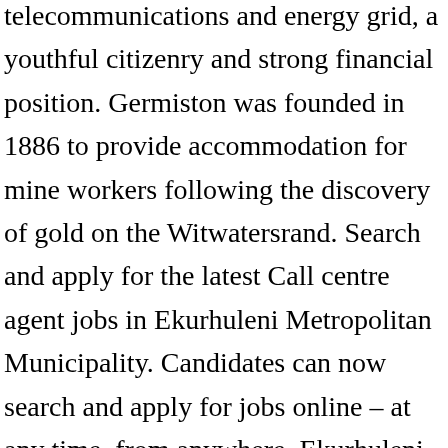telecommunications and energy grid, a youthful citizenry and strong financial position. Germiston was founded in 1886 to provide accommodation for mine workers following the discovery of gold on the Witwatersrand. Search and apply for the latest Call centre agent jobs in Ekurhuleni Metropolitan Municipality. Candidates can now search and apply for jobs online – at any time, from anywhere. Ekurhuleni is one of the five districts of Gauteng province and one of the eight metropolitan municipalities of South Africa. Contact Centre Sales Agent, Customer Service